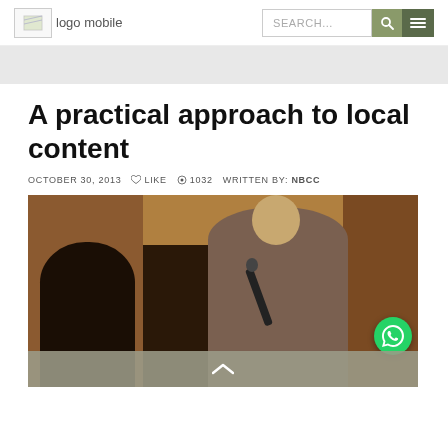logo mobile | SEARCH... [search btn] [menu btn]
A practical approach to local content
OCTOBER 30, 2013   ♥ LIKE   ● 1032   WRITTEN BY: NBCC
[Figure (photo): Photograph of a woman speaking into a microphone at a podium in a wood-paneled room, with other people visible in the background]